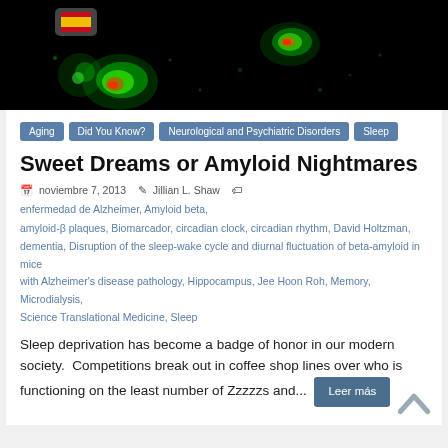[Figure (photo): Dark microscope image showing fluorescent amyloid plaques glowing green and red/orange against a black background. A Spanish flag icon is visible in the top-left corner in a dark rounded box.]
Aging
Did You Know?
Neurological and Psychiatric Disorders
Sleep
Sweet Dreams or Amyloid Nightmares
noviembre 7, 2013   Jillian L. Shaw   enfermedad de Alzheimer, Amyloid beta, amyloid-β plaques, Biomarcador, circadian clock, circadian rhythm, David Holtzman, dementia, Disruption of the sleep-wake cycle and diurnal fluctuation of beta-amyloid in mice with Alzheimer's disease pathology, Hippocampus, Jee Hoon Roh, Memory, Microdialysis, Science Translational Medicine, Sleep
Sleep deprivation has become a badge of honor in our modern society.  Competitions break out in coffee shop lines over who is functioning on the least number of Zzzzzs and...